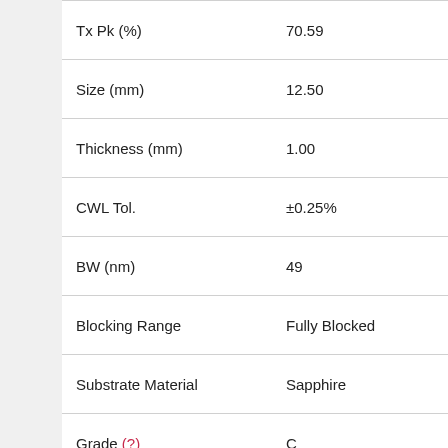| Property | Value |
| --- | --- |
| Tx Pk (%) | 70.59 |
| Size (mm) | 12.50 |
| Thickness (mm) | 1.00 |
| CWL Tol. | ±0.25% |
| BW (nm) | 49 |
| Blocking Range | Fully Blocked |
| Substrate Material | Sapphire |
| Grade (?) | C |
Price
Login to view